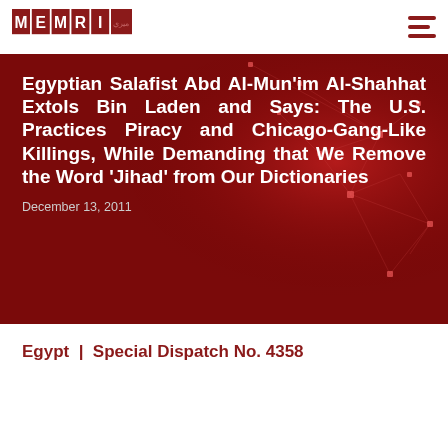[Figure (logo): MEMRI logo with red grid blocks spelling M-E-M-R-I and Arabic text]
[Figure (illustration): Dark red hero banner with network/circuit pattern background]
Egyptian Salafist Abd Al-Mun'im Al-Shahhat Extols Bin Laden and Says: The U.S. Practices Piracy and Chicago-Gang-Like Killings, While Demanding that We Remove the Word 'Jihad' from Our Dictionaries
December 13, 2011
Egypt | Special Dispatch No. 4358